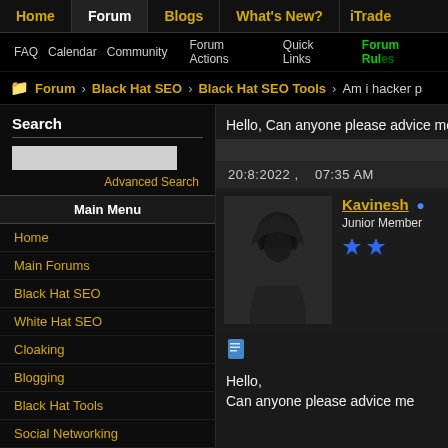Home | Forum | Blogs | What's New? | iTrade
FAQ  Calendar  Community  Forum Actions  Quick Links  Forum Rules
Forum > Black Hat SEO > Black Hat SEO Tools > Am i hacker p...
Search
Advanced Search
Main Menu
Home
Main Forums
Black Hat SEO
White Hat SEO
Cloaking
Blogging
Black Hat Tools
Social Networking
Hello, Can anyone please advice me
20:8:2022 ,    07:35 AM
Kavinesh •
Junior Member
★★
Hello,
Can anyone please advice me